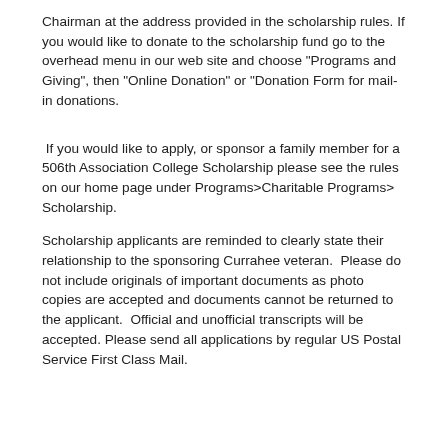Chairman at the address provided in the scholarship rules. If you would like to donate to the scholarship fund go to the overhead menu in our web site and choose "Programs and Giving", then "Online Donation" or "Donation Form for mail-in donations.
If you would like to apply, or sponsor a family member for a 506th Association College Scholarship please see the rules on our home page under Programs>Charitable Programs> Scholarship.
Scholarship applicants are reminded to clearly state their relationship to the sponsoring Currahee veteran.  Please do not include originals of important documents as photo copies are accepted and documents cannot be returned to the applicant.  Official and unofficial transcripts will be accepted. Please send all applications by regular US Postal Service First Class Mail.